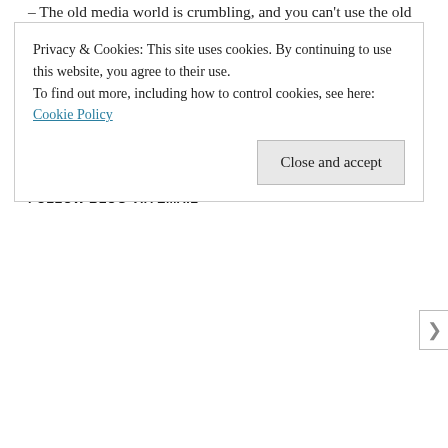The old media world is crumbling, and you can't use the old methods for new media world, says Haski.
Continue reading →
This entry was posted in online journalism and tagged Add new tag, brussels, conference, demotix, digital news affairs, dna09, monocle, rue89 on March 4, 2009 by Paul Bradshaw.
FOLLOW BLOG VIA EMAIL
Privacy & Cookies: This site uses cookies. By continuing to use this website, you agree to their use.
To find out more, including how to control cookies, see here: Cookie Policy
Close and accept